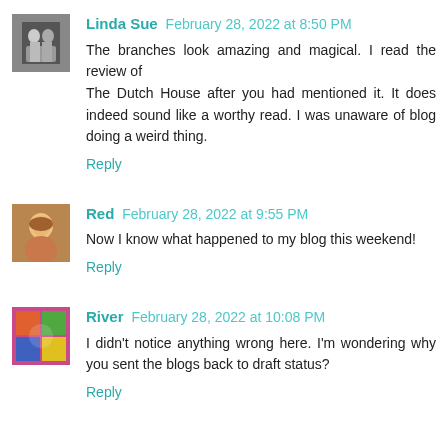Linda Sue  February 28, 2022 at 8:50 PM
The branches look amazing and magical. I read the review of The Dutch House after you had mentioned it. It does indeed sound like a worthy read. I was unaware of blog doing a weird thing.
Reply
Red  February 28, 2022 at 9:55 PM
Now I know what happened to my blog this weekend!
Reply
River  February 28, 2022 at 10:08 PM
I didn't notice anything wrong here. I'm wondering why you sent the blogs back to draft status?
Reply